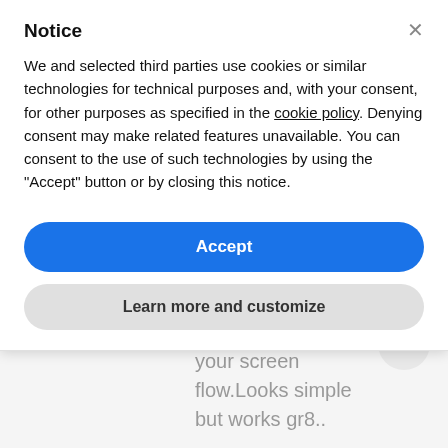Notice
We and selected third parties use cookies or similar technologies for technical purposes and, with your consent, for other purposes as specified in the cookie policy. Denying consent may make related features unavailable. You can consent to the use of such technologies by using the "Accept" button or by closing this notice.
Accept
Learn more and customize
helped me a lot..I like your screen flow.Looks simple but works gr8..